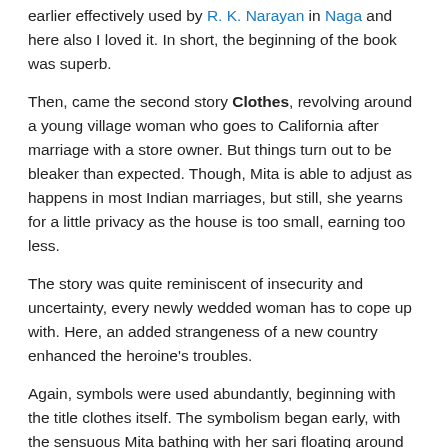earlier effectively used by R. K. Narayan in Naga and here also I loved it. In short, the beginning of the book was superb.
Then, came the second story Clothes, revolving around a young village woman who goes to California after marriage with a store owner. But things turn out to be bleaker than expected. Though, Mita is able to adjust as happens in most Indian marriages, but still, she yearns for a little privacy as the house is too small, earning too less.
The story was quite reminiscent of insecurity and uncertainty, every newly wedded woman has to cope up with. Here, an added strangeness of a new country enhanced the heroine's troubles.
Again, symbols were used abundantly, beginning with the title clothes itself. The symbolism began early, with the sensuous Mita bathing with her sari floating around just like her nascent dreams, followed by emphasis on red color in